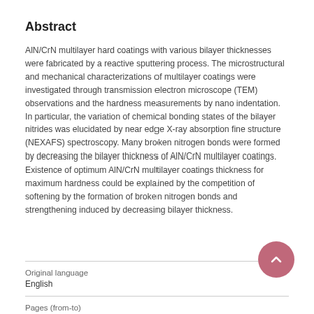Abstract
AlN/CrN multilayer hard coatings with various bilayer thicknesses were fabricated by a reactive sputtering process. The microstructural and mechanical characterizations of multilayer coatings were investigated through transmission electron microscope (TEM) observations and the hardness measurements by nano indentation. In particular, the variation of chemical bonding states of the bilayer nitrides was elucidated by near edge X-ray absorption fine structure (NEXAFS) spectroscopy. Many broken nitrogen bonds were formed by decreasing the bilayer thickness of AlN/CrN multilayer coatings. Existence of optimum AlN/CrN multilayer coatings thickness for maximum hardness could be explained by the competition of softening by the formation of broken nitrogen bonds and strengthening induced by decreasing bilayer thickness.
Original language
English
Pages (from-to)